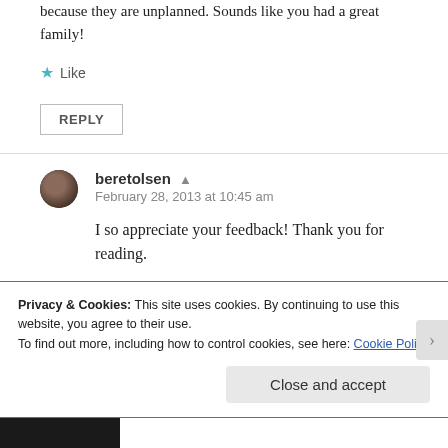because they are unplanned. Sounds like you had a great family!
Like
REPLY
beretolsen
February 28, 2013 at 10:45 am
I so appreciate your feedback! Thank you for reading.
Privacy & Cookies: This site uses cookies. By continuing to use this website, you agree to their use.
To find out more, including how to control cookies, see here: Cookie Policy
Close and accept